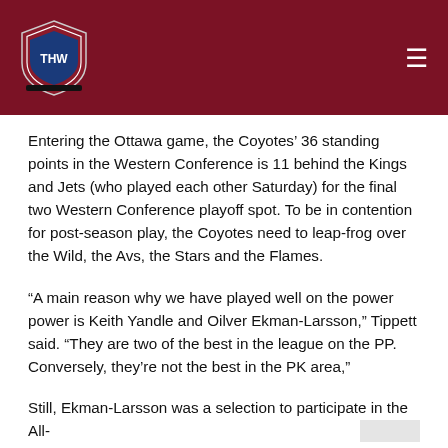THW logo and navigation header
Entering the Ottawa game, the Coyotes’ 36 standing points in the Western Conference is 11 behind the Kings and Jets (who played each other Saturday) for the final two Western Conference playoff spot. To be in contention for post-season play, the Coyotes need to leap-frog over the Wild, the Avs, the Stars and the Flames.
“A main reason why we have played well on the power power is Keith Yandle and Oilver Ekman-Larsson,” Tippett said. “They are two of the best in the league on the PP. Conversely, they’re not the best in the PK area,”
Still, Ekman-Larsson was a selection to participate in the All-